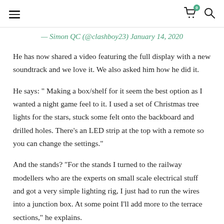≡  🛒 0  🔍
— Simon QC (@clashboy23) January 14, 2020
He has now shared a video featuring the full display with a new soundtrack and we love it. We also asked him how he did it.
He says: " Making a box/shelf for it seem the best option as I wanted a night game feel to it. I used a set of Christmas tree lights for the stars, stuck some felt onto the backboard and drilled holes. There's an LED strip at the top with a remote so you can change the settings."
And the stands? "For the stands I turned to the railway modellers who are the experts on small scale electrical stuff and got a very simple lighting rig, I just had to run the wires into a junction box. At some point I'll add more to the terrace sections," he explains.